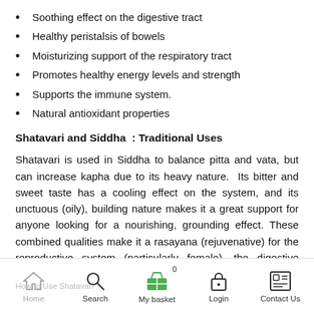Soothing effect on the digestive tract
Healthy peristalsis of bowels
Moisturizing support of the respiratory tract
Promotes healthy energy levels and strength
Supports the immune system.
Natural antioxidant properties
Shatavari and Siddha : Traditional Uses
Shatavari is used in Siddha to balance pitta and vata, but can increase kapha due to its heavy nature.  Its bitter and sweet taste has a cooling effect on the system, and its unctuous (oily), building nature makes it a great support for anyone looking for a nourishing, grounding effect. These combined qualities make it a rasayana (rejuvenative) for the reproductive system (particularly female), the digestive system (particularly when pitta is involved), and for the blood.
Home  Search  My basket 0  Login  Contact Us